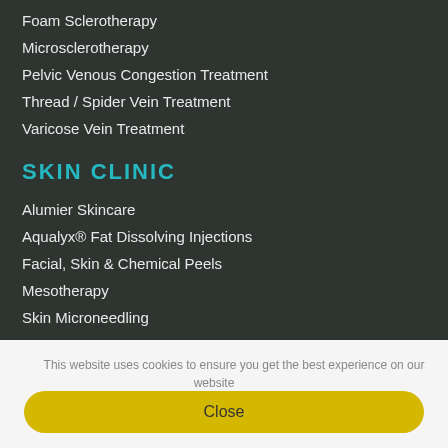Foam Sclerotherapy
Microsclerotherapy
Pelvic Venous Congestion Treatment
Thread / Spider Vein Treatment
Varicose Vein Treatment
SKIN CLINIC
Alumier Skincare
Aqualyx® Fat Dissolving Injections
Facial, Skin & Chemical Peels
Mesotherapy
Skin Microneedling
This website uses cookies to ensure you get the best experience on our website
Close